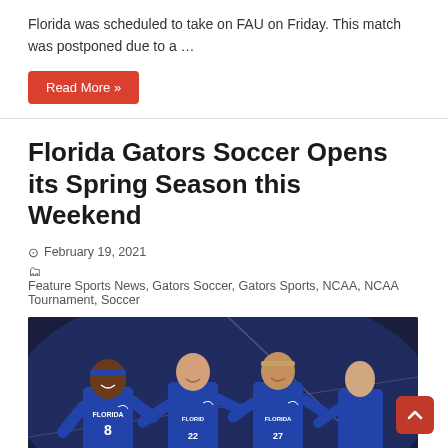Florida was scheduled to take on FAU on Friday. This match was postponed due to a …
Read More »
Florida Gators Soccer Opens its Spring Season this Weekend
February 19, 2021
Feature Sports News, Gators Soccer, Gators Sports, NCAA, NCAA Tournament, Soccer
[Figure (photo): Florida Gators women's soccer players in blue Florida uniforms (numbers 8, 22, 27) celebrating together on the field at night]